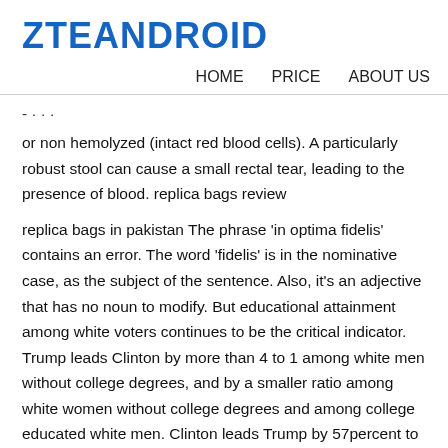ZTEANDROID
HOME   PRICE   ABOUT US
or non hemolyzed (intact red blood cells). A particularly robust stool can cause a small rectal tear, leading to the presence of blood. replica bags review
replica bags in pakistan The phrase ‘in optima fidelis’ contains an error. The word ‘fidelis’ is in the nominative case, as the subject of the sentence. Also, it’s an adjective that has no noun to modify. But educational attainment among white voters continues to be the critical indicator. Trump leads Clinton by more than 4 to 1 among white men without college degrees, and by a smaller ratio among white women without college degrees and among college educated white men. Clinton leads Trump by 57percent to